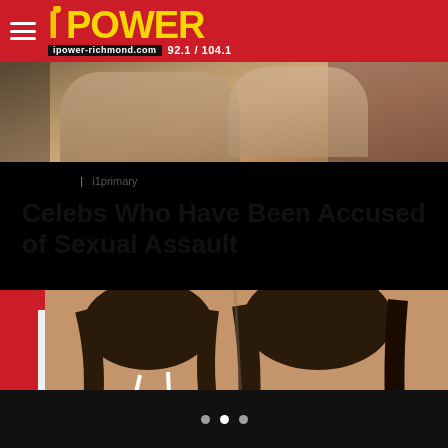iPower 92.1 / 104.1
[Figure (photo): Partial photo visible at top of page behind header]
PHOTOS | i1primary
Celebs Who Have Been Accused of Sexual Assault
[Figure (photo): Two women in white dresses at what appears to be a red carpet or event, photographed from shoulders up/chest level]